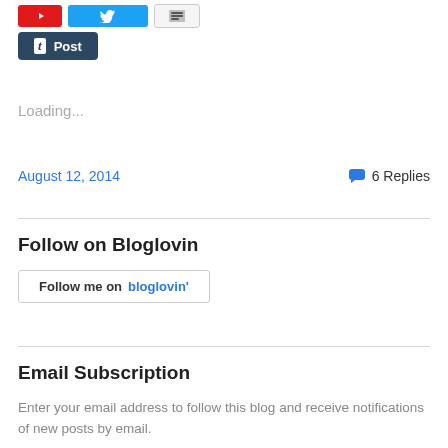[Figure (other): Social sharing buttons: red button, blue Twitter button, gray button, and a dark Tumblr 't Post' button]
Loading...
August 12, 2014   💬 6 Replies
Follow on Bloglovin
[Figure (logo): Follow me on bloglovin' button with border]
Email Subscription
Enter your email address to follow this blog and receive notifications of new posts by email.